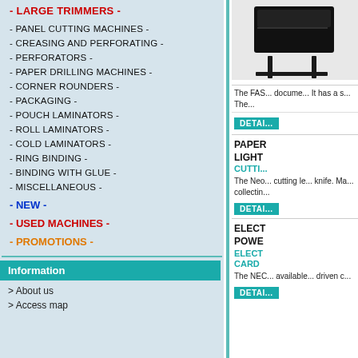- LARGE TRIMMERS -
- PANEL CUTTING MACHINES -
- CREASING AND PERFORATING -
- PERFORATORS -
- PAPER DRILLING MACHINES -
- CORNER ROUNDERS -
- PACKAGING -
- POUCH LAMINATORS -
- ROLL LAMINATORS -
- COLD LAMINATORS -
- RING BINDING -
- BINDING WITH GLUE -
- MISCELLANEOUS -
- NEW -
- USED MACHINES -
- PROMOTIONS -
Information
> About us
> Access map
[Figure (photo): Product image of a trimmer/cutter on stand]
The FAS... docume... It has a s... The...
DETAIL
PAPER LIGHT
CUTTI...
The Neo... cutting le... knife. Ma... collectin...
DETAIL
ELECT POWE
ELECT CARD
The NEC... available... driven c...
DETAIL